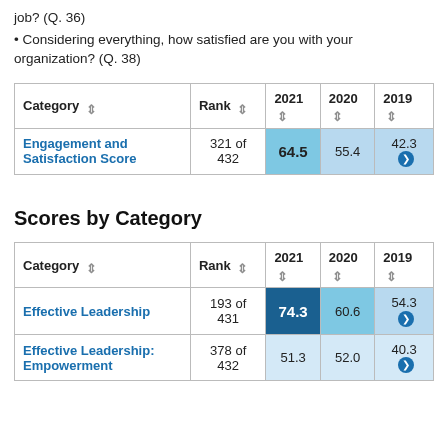job? (Q. 36)
Considering everything, how satisfied are you with your organization? (Q. 38)
| Category | Rank | 2021 | 2020 | 2019 |
| --- | --- | --- | --- | --- |
| Engagement and Satisfaction Score | 321 of 432 | 64.5 | 55.4 | 42.3 |
Scores by Category
| Category | Rank | 2021 | 2020 | 2019 |
| --- | --- | --- | --- | --- |
| Effective Leadership | 193 of 431 | 74.3 | 60.6 | 54.3 |
| Effective Leadership: Empowerment | 378 of 432 | 51.3 | 52.0 | 40.3 |